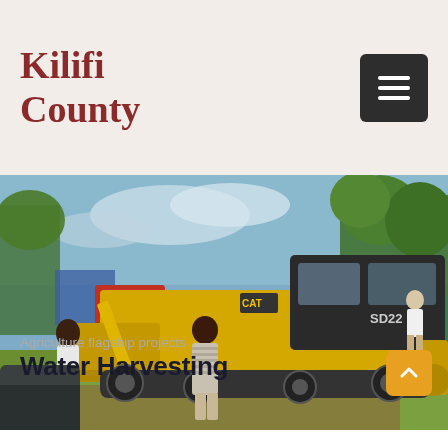Kilifi County
[Figure (photo): A large yellow CAT bulldozer/dozer (model SD22) parked on green grass. Two men stand near its front left side. Trees and other vehicles visible in background under a blue sky.]
Agriculture flagship projects
Water Harvesting